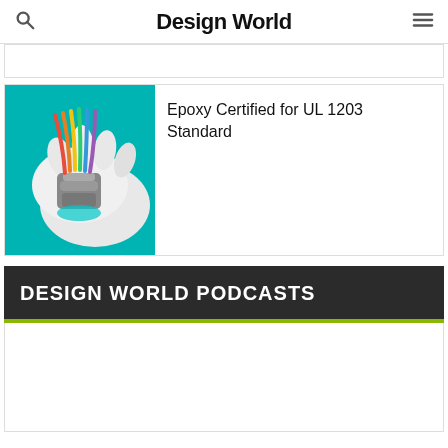Design World
[Figure (photo): Gloved hand holding a wire connector with colorful cables against teal background — Epoxy Certified for UL 1203 Standard article thumbnail]
Epoxy Certified for UL 1203 Standard
DESIGN WORLD PODCASTS